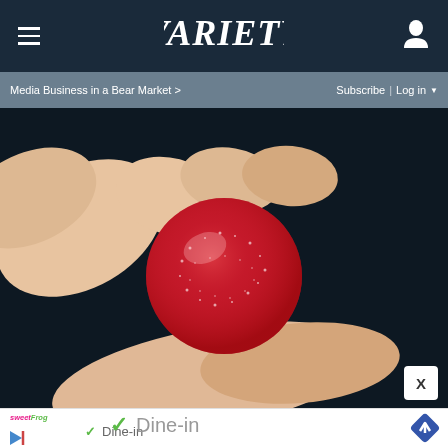VARIETY
Media Business in a Bear Market >
Subscribe | Log in
[Figure (photo): Close-up photo of a hand holding a round red sugary candy (gummi/gumdrop) coated in sugar crystals, against a dark background.]
X
[Figure (infographic): Advertisement for SweetFrog restaurant showing checkmarks next to Dine-in, Takeout, and Delivery options with a navigation/directions icon.]
✓ Dine-in
✓ Takeout
✓ Delivery